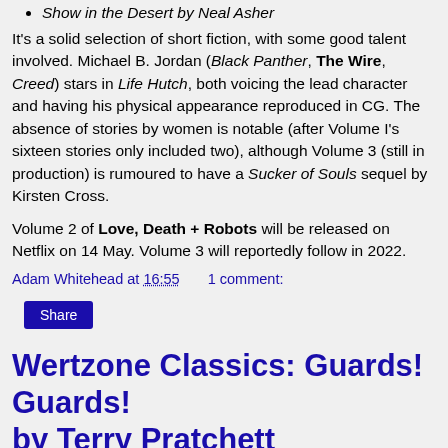Show in the Desert by Neal Asher
It's a solid selection of short fiction, with some good talent involved. Michael B. Jordan (Black Panther, The Wire, Creed) stars in Life Hutch, both voicing the lead character and having his physical appearance reproduced in CG. The absence of stories by women is notable (after Volume I's sixteen stories only included two), although Volume 3 (still in production) is rumoured to have a Sucker of Souls sequel by Kirsten Cross.
Volume 2 of Love, Death + Robots will be released on Netflix on 14 May. Volume 3 will reportedly follow in 2022.
Adam Whitehead at 16:55    1 comment:
Share
Wertzone Classics: Guards! Guards! by Terry Pratchett
Captain Sam Vimes of the Ankh-Morpork City Watch is not a